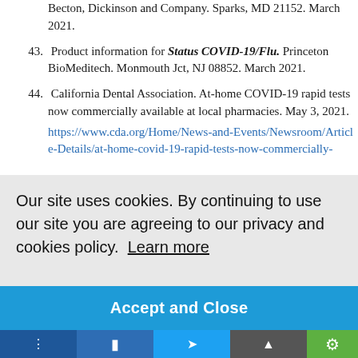Becton, Dickinson and Company. Sparks, MD 21152. March 2021.
43. Product information for Status COVID-19/Flu. Princeton BioMeditech. Monmouth Jct, NJ 08852. March 2021.
44. California Dental Association. At-home COVID-19 rapid tests now commercially available at local pharmacies. May 3, 2021. https://www.cda.org/Home/News-and-Events/Newsroom/Article-Details/at-home-covid-19-rapid-tests-now-commercially-
Our site uses cookies. By continuing to use our site you are agreeing to our privacy and cookies policy.  Learn more
Accept and Close